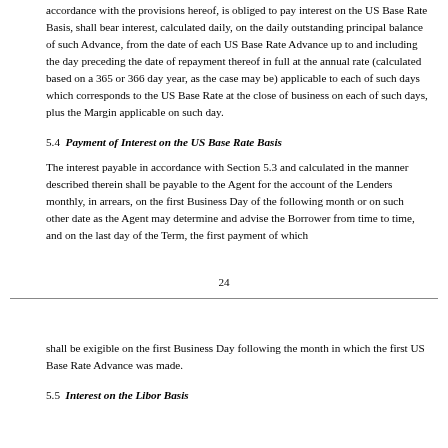accordance with the provisions hereof, is obliged to pay interest on the US Base Rate Basis, shall bear interest, calculated daily, on the daily outstanding principal balance of such Advance, from the date of each US Base Rate Advance up to and including the day preceding the date of repayment thereof in full at the annual rate (calculated based on a 365 or 366 day year, as the case may be) applicable to each of such days which corresponds to the US Base Rate at the close of business on each of such days, plus the Margin applicable on such day.
5.4 Payment of Interest on the US Base Rate Basis
The interest payable in accordance with Section 5.3 and calculated in the manner described therein shall be payable to the Agent for the account of the Lenders monthly, in arrears, on the first Business Day of the following month or on such other date as the Agent may determine and advise the Borrower from time to time, and on the last day of the Term, the first payment of which
24
shall be exigible on the first Business Day following the month in which the first US Base Rate Advance was made.
5.5 Interest on the Libor Basis